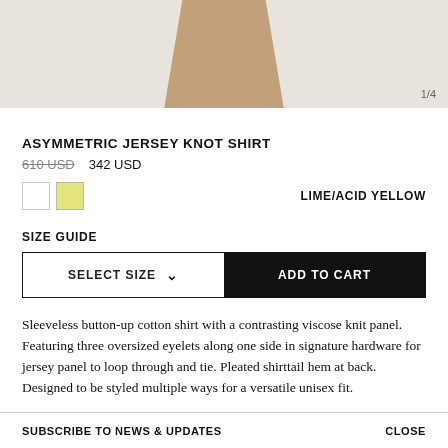[Figure (photo): Product photo of a tan/beige knot shirt, cropped showing lower garment portion on light grey background with counter 1/4]
ASYMMETRIC JERSEY KNOT SHIRT
610 USD  342 USD
LIME/ACID YELLOW
SIZE GUIDE
SELECT SIZE  ADD TO CART
Sleeveless button-up cotton shirt with a contrasting viscose knit panel. Featuring three oversized eyelets along one side in signature hardware for jersey panel to loop through and tie. Pleated shirttail hem at back. Designed to be styled multiple ways for a versatile unisex fit.
SUBSCRIBE TO NEWS & UPDATES   CLOSE